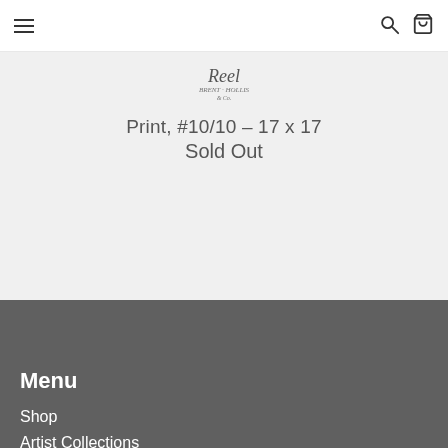Navigation bar with hamburger menu, search icon, and cart icon
[Figure (logo): Script/cursive logo reading 'Reel' with subtitle text]
Print, #10/10 - 17 x 17
Sold Out
Menu
Shop
Artist Collections
Art History Archive